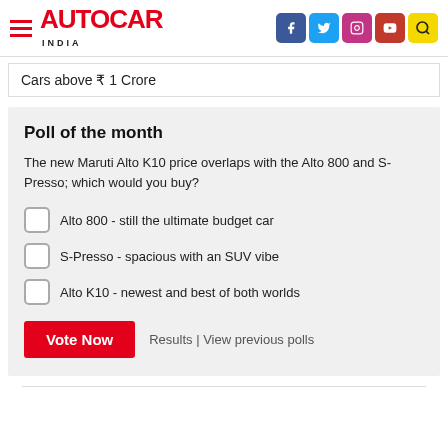AUTOCAR INDIA
Cars above ₹ 1 Crore
Poll of the month
The new Maruti Alto K10 price overlaps with the Alto 800 and S-Presso; which would you buy?
Alto 800 - still the ultimate budget car
S-Presso - spacious with an SUV vibe
Alto K10 - newest and best of both worlds
Vote Now   Results | View previous polls